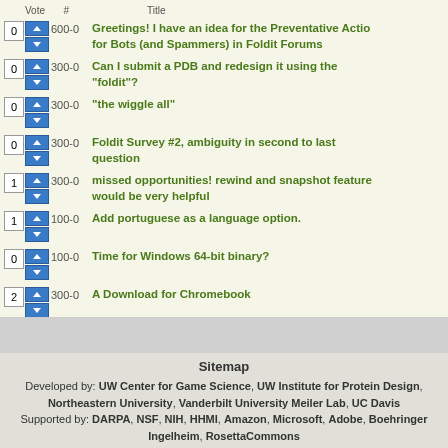4 | Vote | # | Hello! Add a chat auto translator for Global chat please! | Title
0 | 600-0 | Greetings! I have an idea for the Preventative Action for Bots (and Spammers) in Foldit Forums
0 | 300-0 | Can I submit a PDB and redesign it using the "foldit"?
0 | 300-0 | "the wiggle all"
0 | 300-0 | Foldit Survey #2, ambiguity in second to last question
1 | 300-0 | missed opportunities! rewind and snapshot feature would be very helpful
1 | 100-0 | Add portuguese as a language option.
0 | 100-0 | Time for Windows 64-bit binary?
2 | 300-0 | A Download for Chromebook
0 | 200-0 | Concection error
1 | 300-0 | Official GNU/Linux runtime requirements!
1 | 700-0 | Crash on Mac OS High Sierra Version 10.13.6
1 | 500-0 | make Cookbook: Import/Export work without zenity (on linux)
Sitemap
Developed by: UW Center for Game Science, UW Institute for Protein Design, Northeastern University, Vanderbilt University Meiler Lab, UC Davis
Supported by: DARPA, NSF, NIH, HHMI, Amazon, Microsoft, Adobe, Boehringer Ingelheim, RosettaCommons